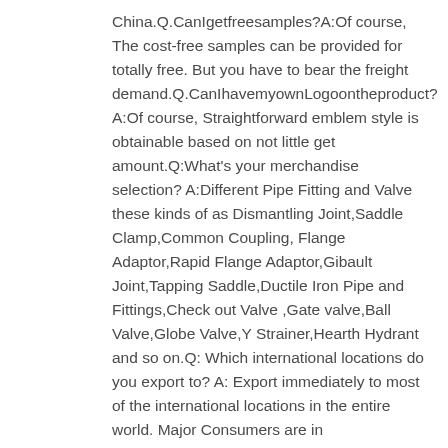China.Q.CanIgetfreesamples?A:Of course, The cost-free samples can be provided for totally free. But you have to bear the freight demand.Q.CanIhavemyownLogoontheproduct?A:Of course, Straightforward emblem style is obtainable based on not little get amount.Q:What's your merchandise selection? A:Different Pipe Fitting and Valve these kinds of as Dismantling Joint,Saddle Clamp,Common Coupling, Flange Adaptor,Rapid Flange Adaptor,Gibault Joint,Tapping Saddle,Ductile Iron Pipe and Fittings,Check out Valve ,Gate valve,Ball Valve,Globe Valve,Y Strainer,Hearth Hydrant and so on.Q: Which international locations do you export to? A: Export immediately to most of the international locations in the entire world. Major Consumers are in European,United states of america,Africa and So on.Q: How extended is your shipping and delivery time?A: Normally it is about 25-30 days depends on the get amount.